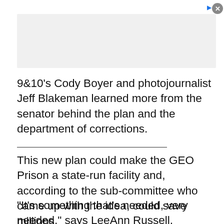[Figure (other): Advertisement banner area with play and close controls]
9&10's Cody Boyer and photojournalist Jeff Blakeman learned more from the senator behind the plan and the department of corrections.
This new plan could make the GEO Prison a state-run facility and, according to the sub-committee who came up with the idea, could save millions.
"It's something that's needed, very needed," says LeeAnn Russell, president of the Lake County